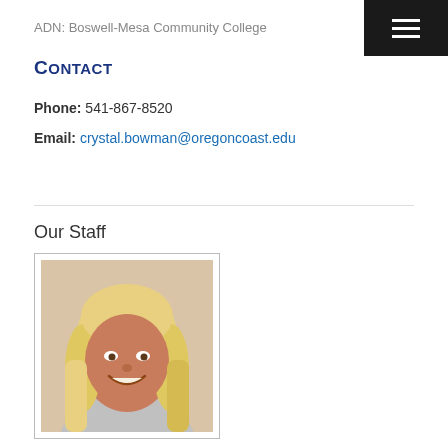ADN: Boswell-Mesa Community College
Contact
Phone: 541-867-8520
Email: crystal.bowman@oregoncoast.edu
Our Staff
[Figure (photo): Headshot of a smiling woman with long blonde hair wearing a light grey top, photographed against a neutral background.]